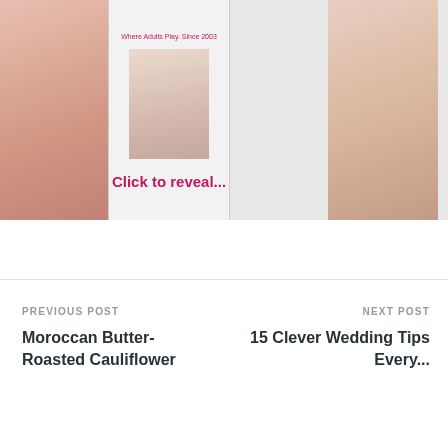[Figure (illustration): Three book cover images side by side with a 'Click to reveal...' overlay text in pink/crimson color on the center image. Left and right images show romantic/couple photos, center has website text and couple imagery.]
About Author
Megan May
Ask a Question
PREVIOUS POST
Moroccan Butter-Roasted Cauliflower
NEXT POST
15 Clever Wedding Tips Every...